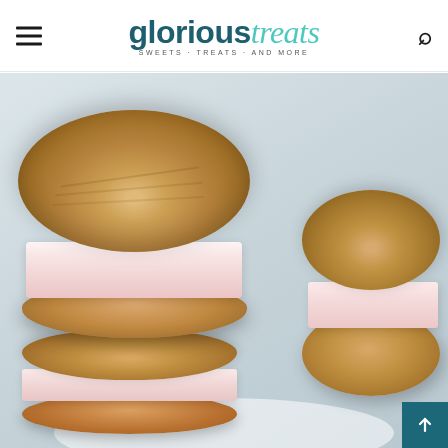glorioustreats SWEETS · TREATS · AND MORE
[Figure (photo): Close-up photo of peanut butter cookie ice cream sandwiches stacked on a white plate. The main sandwich in the center has two large round peanut butter cookies with a thick pink/strawberry ice cream filling. A second sandwich is stacked below, and a third sandwich leans against the stack on the right side. Background is light blue-grey.]